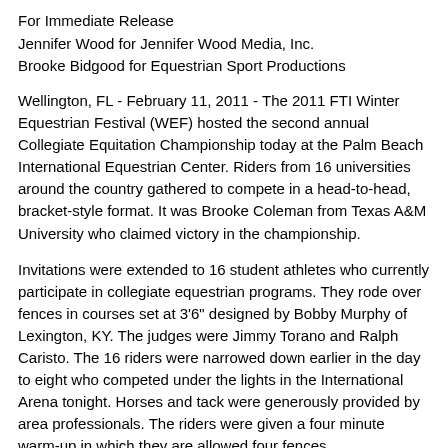For Immediate Release
Jennifer Wood for Jennifer Wood Media, Inc.
Brooke Bidgood for Equestrian Sport Productions
Wellington, FL - February 11, 2011 - The 2011 FTI Winter Equestrian Festival (WEF) hosted the second annual Collegiate Equitation Championship today at the Palm Beach International Equestrian Center. Riders from 16 universities around the country gathered to compete in a head-to-head, bracket-style format. It was Brooke Coleman from Texas A&M University who claimed victory in the championship.
Invitations were extended to 16 student athletes who currently participate in collegiate equestrian programs. They rode over fences in courses set at 3'6" designed by Bobby Murphy of Lexington, KY. The judges were Jimmy Torano and Ralph Caristo. The 16 riders were narrowed down earlier in the day to eight who competed under the lights in the International Arena tonight. Horses and tack were generously provided by area professionals. The riders were given a four minute warm-up in which they are allowed four fences.